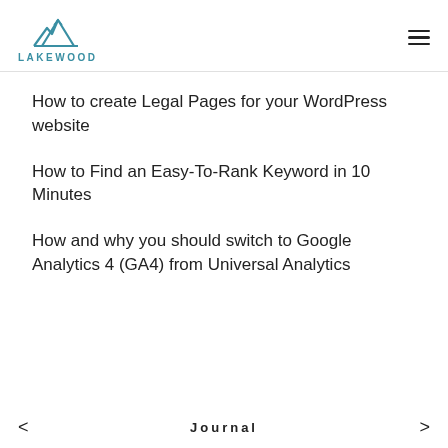LAKEWOOD
How to create Legal Pages for your WordPress website
How to Find an Easy-To-Rank Keyword in 10 Minutes
How and why you should switch to Google Analytics 4 (GA4) from Universal Analytics
< Journal >